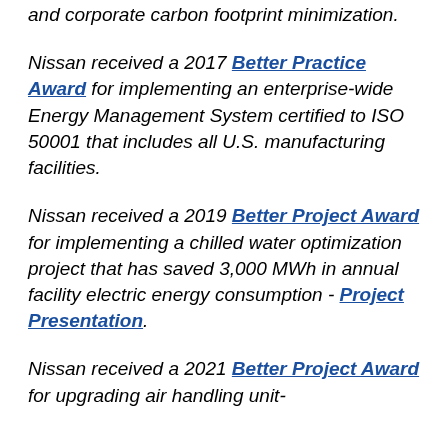and corporate carbon footprint minimization.
Nissan received a 2017 Better Practice Award for implementing an enterprise-wide Energy Management System certified to ISO 50001 that includes all U.S. manufacturing facilities.
Nissan received a 2019 Better Project Award for implementing a chilled water optimization project that has saved 3,000 MWh in annual facility electric energy consumption - Project Presentation.
Nissan received a 2021 Better Project Award for upgrading air handling unit-